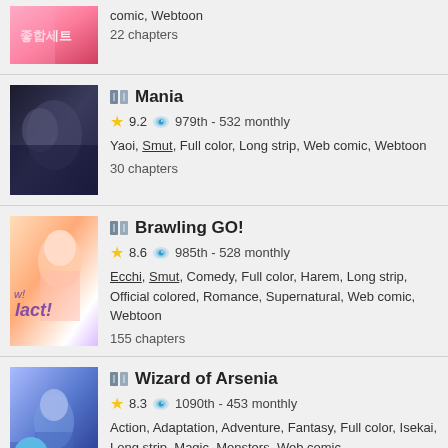comic, Webtoon
22 chapters
Mania
9.2 | 979th - 532 monthly
Yaoi, Smut, Full color, Long strip, Web comic, Webtoon
30 chapters
Brawling GO!
8.6 | 985th - 528 monthly
Ecchi, Smut, Comedy, Full color, Harem, Long strip, Official colored, Romance, Supernatural, Web comic, Webtoon
155 chapters
Wizard of Arsenia
8.3 | 1090th - 453 monthly
Action, Adaptation, Adventure, Fantasy, Full color, Isekai, Long strip, Magic, Monsters, Web comic,